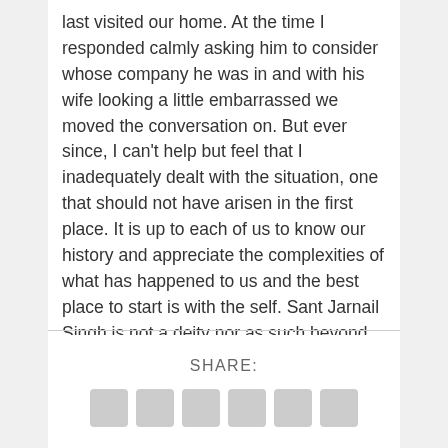last visited our home. At the time I responded calmly asking him to consider whose company he was in and with his wife looking a little embarrassed we moved the conversation on. But ever since, I can't help but feel that I inadequately dealt with the situation, one that should not have arisen in the first place. It is up to each of us to know our history and appreciate the complexities of what has happened to us and the best place to start is with the self. Sant Jarnail Singh is not a deity nor as such beyond question, but when we continue to hold contrasting opinions about him as a community, we misrepresent his foresight, and rewrite a narrative that divests future generations.
SHARE: